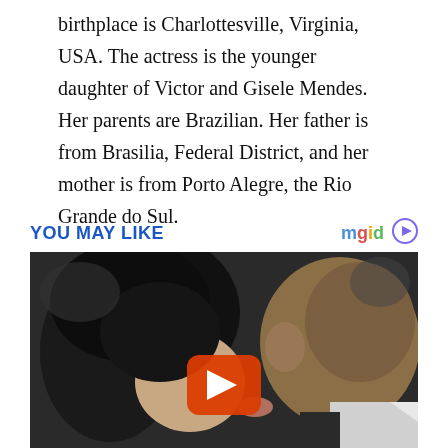birthplace is Charlottesville, Virginia, USA. The actress is the younger daughter of Victor and Gisele Mendes. Her parents are Brazilian. Her father is from Brasilia, Federal District, and her mother is from Porto Alegre, the Rio Grande do Sul.
YOU MAY LIKE
[Figure (photo): A photo of two people close together appearing to kiss, with a YouTube play button overlay in the center. One person has dark hair and the other wears a white shirt/suit.]